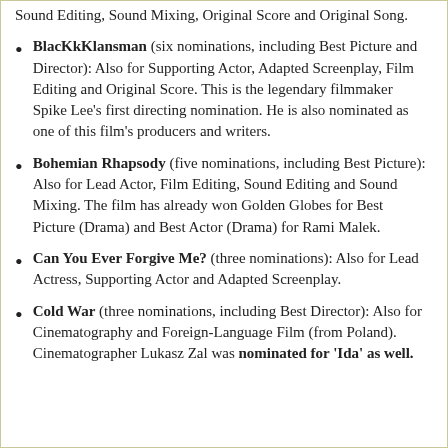Sound Editing, Sound Mixing, Original Score and Original Song.
BlacKkKlansman (six nominations, including Best Picture and Director): Also for Supporting Actor, Adapted Screenplay, Film Editing and Original Score. This is the legendary filmmaker Spike Lee's first directing nomination. He is also nominated as one of this film's producers and writers.
Bohemian Rhapsody (five nominations, including Best Picture): Also for Lead Actor, Film Editing, Sound Editing and Sound Mixing. The film has already won Golden Globes for Best Picture (Drama) and Best Actor (Drama) for Rami Malek.
Can You Ever Forgive Me? (three nominations): Also for Lead Actress, Supporting Actor and Adapted Screenplay.
Cold War (three nominations, including Best Director): Also for Cinematography and Foreign-Language Film (from Poland). Cinematographer Lukasz Zal was nominated for 'Ida' as well.